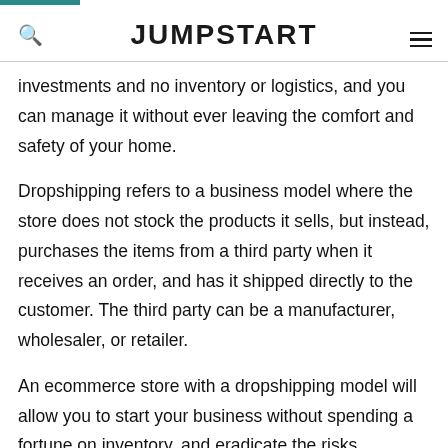JUMPSTART
investments and no inventory or logistics, and you can manage it without ever leaving the comfort and safety of your home.
Dropshipping refers to a business model where the store does not stock the products it sells, but instead, purchases the items from a third party when it receives an order, and has it shipped directly to the customer. The third party can be a manufacturer, wholesaler, or retailer.
An ecommerce store with a dropshipping model will allow you to start your business without spending a fortune on inventory, and eradicate the risks associated with large inventories, thereby giving you the freedom to test out